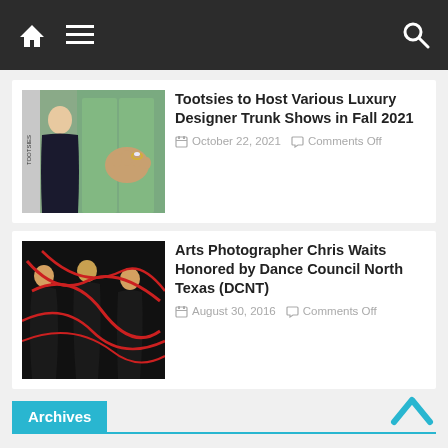Navigation bar with home icon, menu icon, and search icon
Tootsies to Host Various Luxury Designer Trunk Shows in Fall 2021
October 22, 2021  Comments Off
[Figure (photo): Fashion photo showing a woman in a dark dress and a hand with rings, with Tootsies branding]
Arts Photographer Chris Waits Honored by Dance Council North Texas (DCNT)
August 30, 2016  Comments Off
[Figure (photo): Dance performance photo with performers in black holding red ribbons]
Archives
Select Month